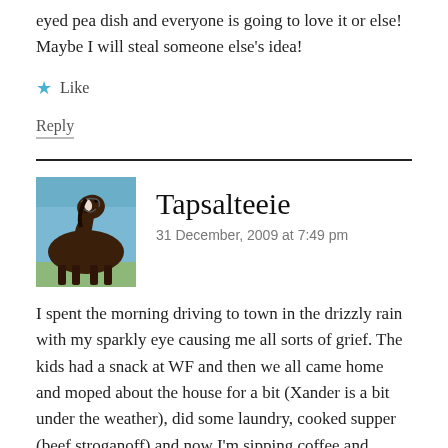eyed pea dish and everyone is going to love it or else! Maybe I will steal someone else's idea!
Like
Reply
Tapsalteeie
31 December, 2009 at 7:49 pm
[Figure (photo): Avatar photo of a dark brown horse with a white blaze wearing a halter, photographed outdoors against a blue sky with bare trees.]
I spent the morning driving to town in the drizzly rain with my sparkly eye causing me all sorts of grief. The kids had a snack at WF and then we all came home and moped about the house for a bit (Xander is a bit under the weather), did some laundry, cooked supper (beef stroganoff) and now I'm sipping coffee and